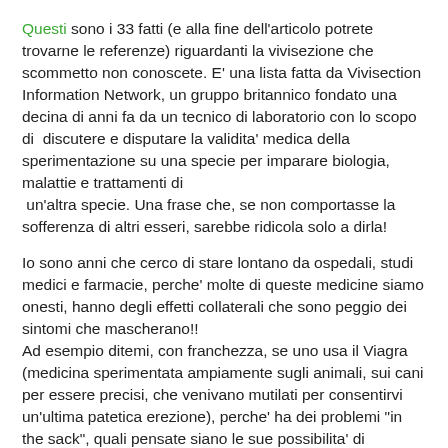Questi sono i 33 fatti (e alla fine dell'articolo potrete trovarne le referenze) riguardanti la vivisezione che scommetto non conoscete. E' una lista fatta da Vivisection Information Network, un gruppo britannico fondato una decina di anni fa da un tecnico di laboratorio con lo scopo di  discutere e disputare la validita' medica della sperimentazione su una specie per imparare biologia, malattie e trattamenti di  un'altra specie. Una frase che, se non comportasse la sofferenza di altri esseri, sarebbe ridicola solo a dirla!
Io sono anni che cerco di stare lontano da ospedali, studi medici e farmacie, perche' molte di queste medicine siamo onesti, hanno degli effetti collaterali che sono peggio dei sintomi che mascherano!! Ad esempio ditemi, con franchezza, se uno usa il Viagra (medicina sperimentata ampiamente sugli animali, sui cani per essere precisi, che venivano mutilati per consentirvi un'ultima patetica erezione), perche' ha dei problemi "in the sack", quali pensate siano le sue possibilita' di "successo", quando gli si gonfia la faccia, la bocca, le labbra o la lingua (alcuni degli effetti collaterali)? A quel punto, una mancata